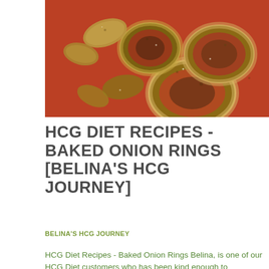[Figure (photo): Photo of baked onion rings on a red/orange surface, showing breaded onion rings and some loose breaded pieces, viewed from above.]
HCG DIET RECIPES - BAKED ONION RINGS [BELINA'S HCG JOURNEY]
BELINA'S HCG JOURNEY
HCG Diet Recipes - Baked Onion Rings Belina, is one of our HCG Diet customers who has been kind enough to